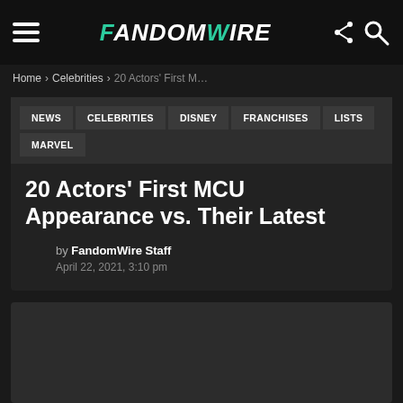FandomWire — navigation bar with hamburger menu, logo, share and search icons
Home › Celebrities › 20 Actors' First M…
NEWS  CELEBRITIES  DISNEY  FRANCHISES  LISTS  MARVEL
20 Actors' First MCU Appearance vs. Their Latest
by FandomWire Staff
April 22, 2021, 3:10 pm
[Figure (photo): Dark placeholder image area below the article header]